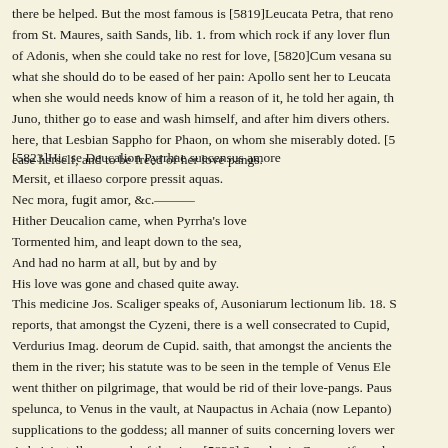there be helped. But the most famous is [5819]Leucata Petra, that reno from St. Maures, saith Sands, lib. 1. from which rock if any lover flun of Adonis, when she could take no rest for love, [5820]Cum vesana su what she should do to be eased of her pain: Apollo sent her to Leucata when she would needs know of him a reason of it, he told her again, th Juno, thither go to ease and wash himself, and after him divers others. here, that Lesbian Sappho for Phaon, on whom she miserably doted. [5 ease herself, and to be freed of her love pangs.
[5823]Hic se Deucalion Pyrrhae suecensus amore
Mersit, et illaeso corpore pressit aquas.
Nec mora, fugit amor, &c.———
Hither Deucalion came, when Pyrrha's love
Tormented him, and leapt down to the sea,
And had no harm at all, but by and by
His love was gone and chased quite away.
This medicine Jos. Scaliger speaks of, Ausoniarum lectionum lib. 18. S reports, that amongst the Cyzeni, there is a well consecrated to Cupid, Verdurius Imag. deorum de Cupid. saith, that amongst the ancients the them in the river; his statute was to be seen in the temple of Venus Ele went thither on pilgrimage, that would be rid of their love-pangs. Paus spelunca, to Venus in the vault, at Naupactus in Achaia (now Lepanto) supplications to the goddess; all manner of suits concerning lovers wer Achaicis, tells as much of the river [5826] Senelus in Greece; if any lo